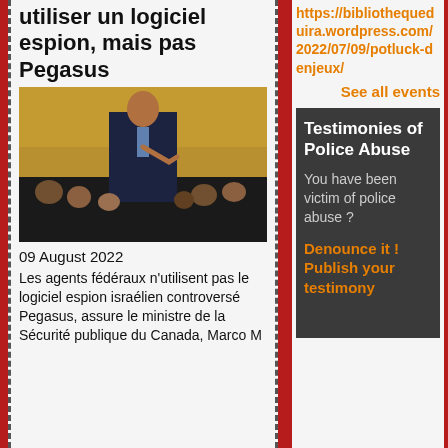utiliser un logiciel espion, mais pas Pegasus
[Figure (photo): A man in a suit speaking in what appears to be a parliamentary setting with other people around him]
09 August 2022
Les agents fédéraux n'utilisent pas le logiciel espion israélien controversé Pegasus, assure le ministre de la Sécurité publique du Canada, Marco M
https://bibliothequeduira.wordpress.com/2022/07/09/potluck-denjeux/
See all events
Testimonies of Police Abuse
You have been victim of police abuse ?
Denounce it ! Publish your testimony